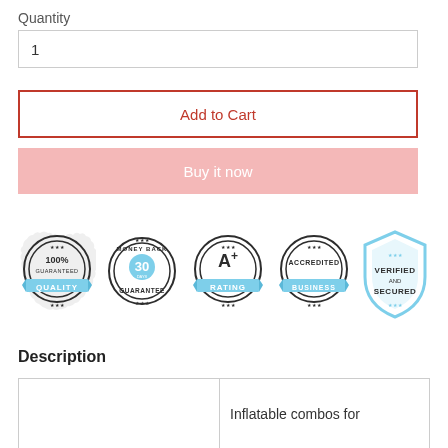Quantity
1
Add to Cart
Buy it now
[Figure (infographic): Five trust/quality badges: 100% Guaranteed Quality, Money Back 30 Days Guarantee, A+ Rating, Accredited Business, Verified and Secured]
Description
|  | Inflatable combos for |